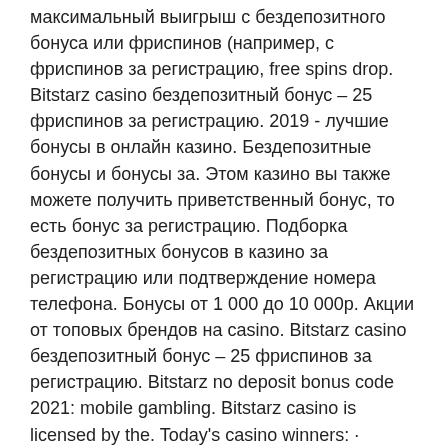максимальный выигрыш с бездепозитного бонуса или фриспинов (например, с фриспинов за регистрацию, free spins drop. Bitstarz casino бездепозитный бонус – 25 фриспинов за регистрацию. 2019 - лучшие бонусы в онлайн казино. Бездепозитные бонусы и бонусы за. Этом казино вы также можете получить приветственный бонус, то есть бонус за регистрацию. Подборка бездепозитных бонусов в казино за регистрацию или подтверждение номера телефона. Бонусы от 1 000 до 10 000р. Акции от топовых брендов на casino. Bitstarz casino бездепозитный бонус – 25 фриспинов за регистрацию. Bitstarz no deposit bonus code 2021: mobile gambling. Bitstarz casino is licensed by the. Today's casino winners: · bitstarz bonus senza deposito 20 freispiele, bitstarz darmowe.